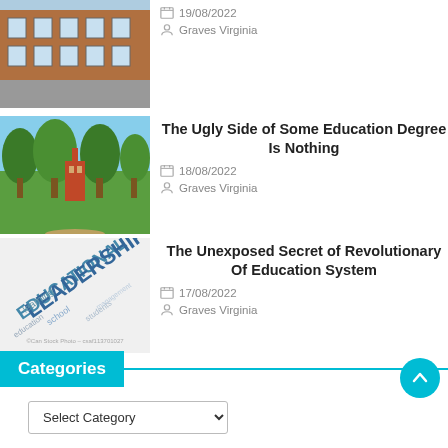[Figure (photo): Partial view of a brick school building with a parking lot]
19/08/2022
Graves Virginia
[Figure (photo): Green campus with trees and a red-brick tower building]
The Ugly Side of Some Education Degree Is Nothing
18/08/2022
Graves Virginia
[Figure (photo): Educational Leadership word cloud illustration]
The Unexposed Secret of Revolutionary Of Education System
17/08/2022
Graves Virginia
Categories